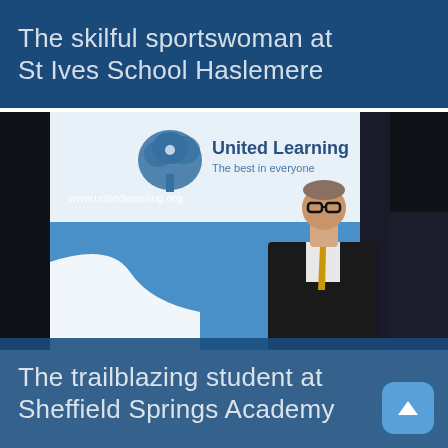The skilful sportswoman at St Ives School Haslemere
[Figure (photo): Young student in school uniform (dark blazer, white shirt, yellow/gold tie, glasses) standing in front of a United Learning branded pull-up banner. Banner reads 'United Learning – The best in everyone' and 'www.unitedlearning.org'. The background is dark/black event space.]
The trailblazing student at Sheffield Springs Academy